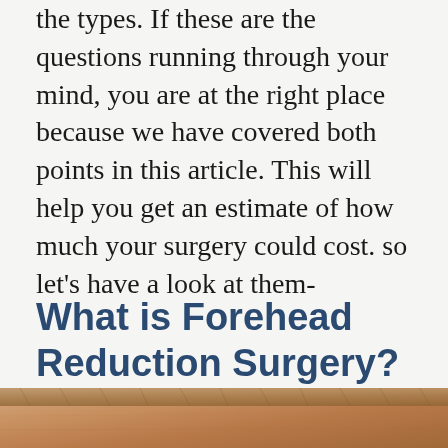the types. If these are the questions running through your mind, you are at the right place because we have covered both points in this article. This will help you get an estimate of how much your surgery could cost. so let's have a look at them-
What is Forehead Reduction Surgery?
[Figure (photo): Close-up photo of a person's forehead and hair, showing skin texture and hairline — partially visible at bottom of page.]